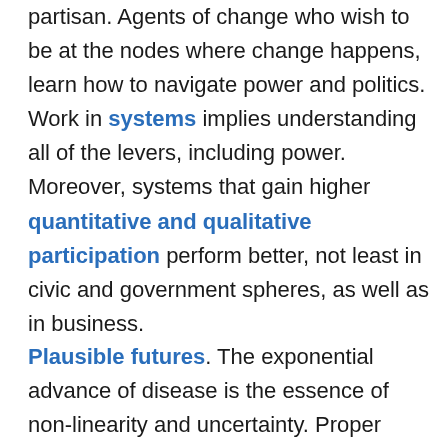partisan. Agents of change who wish to be at the nodes where change happens, learn how to navigate power and politics. Work in systems implies understanding all of the levers, including power. Moreover, systems that gain higher quantitative and qualitative participation perform better, not least in civic and government spheres, as well as in business.
Plausible futures. The exponential advance of disease is the essence of non-linearity and uncertainty. Proper